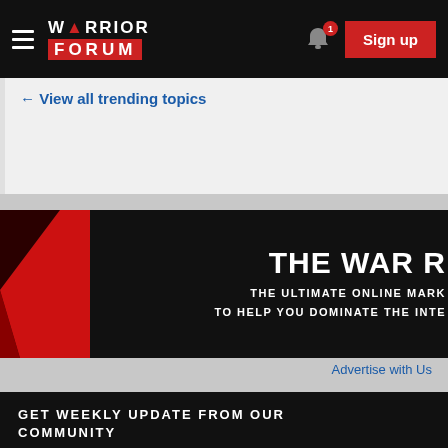Warrior Forum — Sign up
← View all trending topics
[Figure (screenshot): Warrior Forum advertisement banner: 'THE WAR R... THE ULTIMATE ONLINE MARK... TO HELP YOU DOMINATE THE INTE...' with red and black graphic design]
Advertise with Us
GET WEEKLY UPDATE FROM OUR COMMUNITY
Stay up-to-date with the best Internet Marketing Content, Copywriting Growth Hacking, Digital Marketing Product and a lot more!